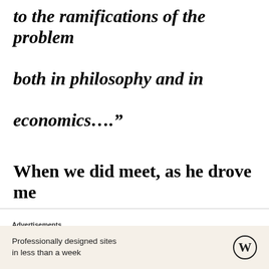to the ramifications of the problem both in philosophy and in economics…."
When we did meet, as he drove me around MIT in his car, Alexander joked how it used to be bad form in his time
Advertisements
Professionally designed sites in less than a week